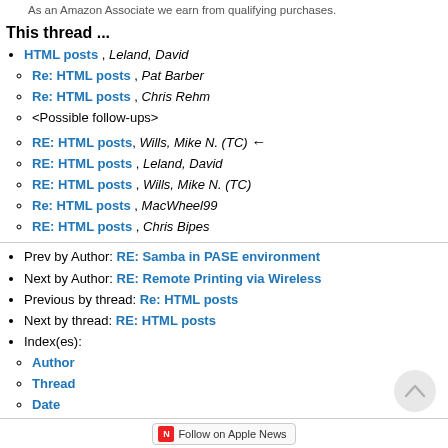As an Amazon Associate we earn from qualifying purchases.
This thread ...
HTML posts , Leland, David
Re: HTML posts , Pat Barber
Re: HTML posts , Chris Rehm
<Possible follow-ups>
RE: HTML posts , Wills, Mike N. (TC) ←
RE: HTML posts , Leland, David
RE: HTML posts , Wills, Mike N. (TC)
Re: HTML posts , MacWheel99
RE: HTML posts , Chris Bipes
Prev by Author: RE: Samba in PASE environment
Next by Author: RE: Remote Printing via Wireless
Previous by thread: Re: HTML posts
Next by thread: RE: HTML posts
Index(es):
Author
Thread
Date